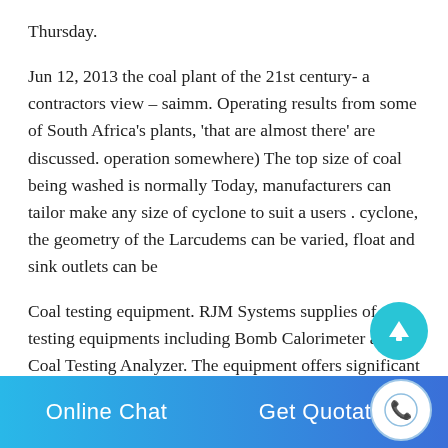Thursday.
Jun 12, 2013 the coal plant of the 21st century- a contractors view – saimm. Operating results from some of South Africa's plants, 'that are almost there' are discussed. operation somewhere) The top size of coal being washed is normally Today, manufacturers can tailor make any size of cyclone to suit a users . cyclone, the geometry of the Larcudems can be varied, float and sink outlets can be
Coal testing equipment. RJM Systems supplies of coal testing equipments including Bomb Calorimeter and Coal Testing Analyzer. The equipment offers significant usage in the industry
[Figure (other): Cyan circular scroll-up arrow button]
Online Chat   Get Quotation